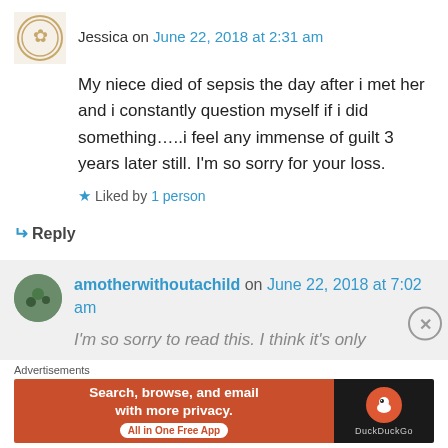Jessica on June 22, 2018 at 2:31 am
My niece died of sepsis the day after i met her and i constantly question myself if i did something…..i feel any immense of guilt 3 years later still. I'm so sorry for your loss.
★ Liked by 1 person
↵ Reply
amotherwithoutachild on June 22, 2018 at 7:02 am
I'm so sorry to read this. I think it's only
Advertisements
[Figure (screenshot): DuckDuckGo advertisement banner: orange left panel with 'Search, browse, and email with more privacy. All in One Free App' and dark right panel with DuckDuckGo logo]